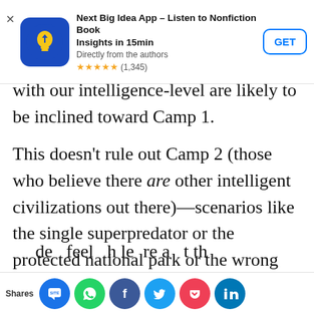[Figure (other): App store advertisement banner for 'Next Big Idea App – Listen to Nonfiction Book Insights in 15min', with blue icon, star rating 4.5 (1,345), and GET button]
with our intelligence-level are likely to be inclined toward Camp 1.
This doesn't rule out Camp 2 (those who believe there are other intelligent civilizations out there)—scenarios like the single superpredator or the protected national park or the wrong wavelength (the walkie-talkie example) could still explain the silence of our night sky even if ASI is out there—but I always leaned toward Camp 2 in the past, and doing research on AI has made feel h le re t th
[Figure (other): Social share bar with icons for SMS/site, WhatsApp, Facebook, Twitter, Pocket, and LinkedIn]